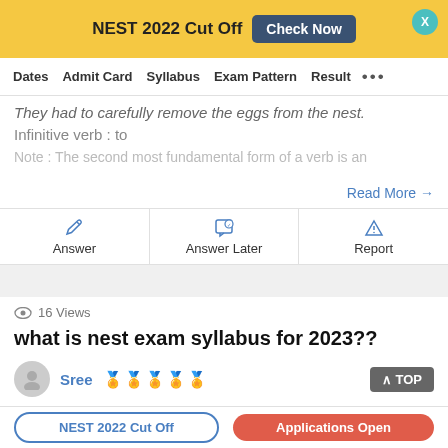NEST 2022 Cut Off  Check Now
Dates  Admit Card  Syllabus  Exam Pattern  Result  ...
They had to carefully remove the eggs from the nest.
Infinitive verb : to
Note : The second most fundamental form of a verb is an
Read More →
Answer
Answer Later
Report
16 Views
what is nest exam syllabus for 2023??
Sree
NEST 2022 Cut Off  Applications Open